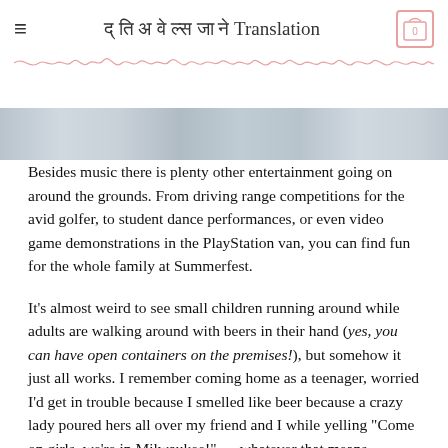Travels in Translation
[Figure (photo): Partial photo strip at top of content area, showing blurred colorful imagery]
Besides music there is plenty other entertainment going on around the grounds. From driving range competitions for the avid golfer, to student dance performances, or even video game demonstrations in the PlayStation van, you can find fun for the whole family at Summerfest.
It's almost weird to see small children running around while adults are walking around with beers in their hand (yes, you can have open containers on the premises!), but somehow it just all works. I remember coming home as a teenager, worried I'd get in trouble because I smelled like beer because a crazy lady poured hers all over my friend and I while yelling "Come on girls, we're in Milwaukee!" — whatever that means